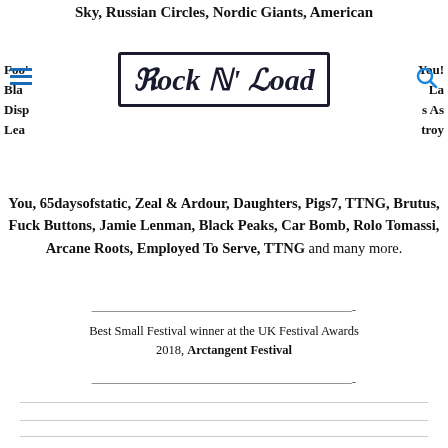Sky, Russian Circles, Nordic Giants, American
Foo’ You! Bla La Disp s As Lea troy
[Figure (logo): Rock N' Load logo in decorative serif font with border]
You, 65daysofstatic, Zeal & Ardour, Daughters, Pigs7, TTNG, Brutus, Fuck Buttons, Jamie Lenman, Black Peaks, Car Bomb, Rolo Tomassi, Arcane Roots, Employed To Serve, TTNG and many more.
————————————————————-
Best Small Festival winner at the UK Festival Awards 2018, Arctangent Festival
————————————————————-